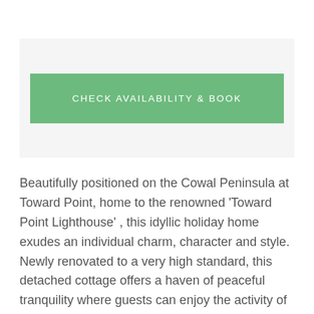[Figure (other): A light grey box containing a green 'CHECK AVAILABILITY & BOOK' button centered within it]
Beautifully positioned on the Cowal Peninsula at Toward Point, home to the renowned 'Toward Point Lighthouse' , this idyllic holiday home exudes an individual charm, character and style. Newly renovated to a very high standard, this detached cottage offers a haven of peaceful tranquility where guests can enjoy the activity of the lighthouse and the sailing clubs of the Clyde Coast as they cruise past, sails billowing in the wind. There is a large, private, sheltered garden with